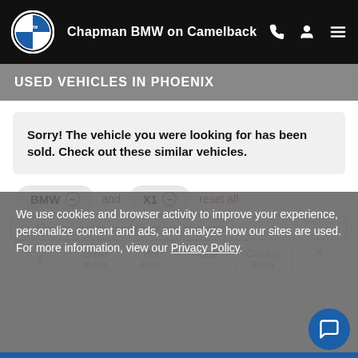Chapman BMW on Camelback
USED VEHICLES IN PHOENIX
Sorry! The vehicle you were looking for has been sold. Check out these similar vehicles.
BMW ⊖ and X1 ⊖ reset all
We use cookies and browser activity to improve your experience, personalize content and ads, and analyze how our sites are used. For more information, view our Privacy Policy.